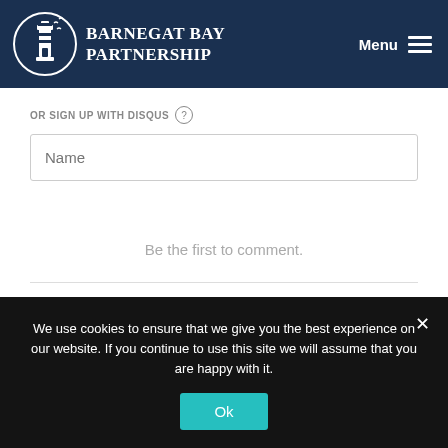[Figure (logo): Barnegat Bay Partnership logo with lighthouse and birds in a circle, white on dark navy background, with organization name text]
OR SIGN UP WITH DISQUS ?
Name
Be the first to comment.
We use cookies to ensure that we give you the best experience on our website. If you continue to use this site we will assume that you are happy with it.
Ok